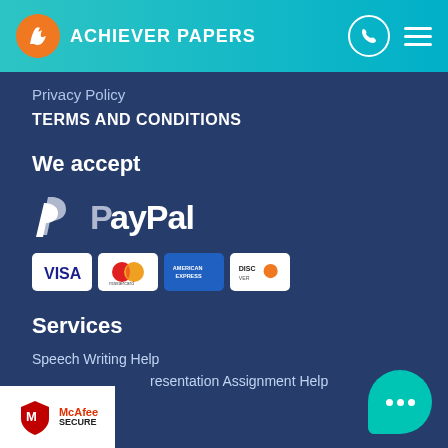ACHIEVER PAPERS
Privacy Policy
TERMS AND CONDITIONS
We accept
[Figure (logo): PayPal logo in white/silver on dark blue background]
[Figure (logo): Payment card logos: VISA, Mastercard, American Express, Discover]
Services
Speech Writing Help
Presentation Assignment Help
[Figure (logo): McAfee SECURE badge]